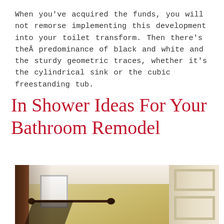When you've acquired the funds, you will not remorse implementing this development into your toilet transform. Then there's theÂ predominance of black and white and the sturdy geometric traces, whether it's the cylindrical sink or the cubic freestanding tub.
In Shower Ideas For Your Bathroom Remodel
[Figure (photo): A bathroom hallway view through a doorframe with dark wood trim, showing yellow-painted walls, a white ceiling with crown molding, a curtain rod, a window, and a white paneled door on the right.]